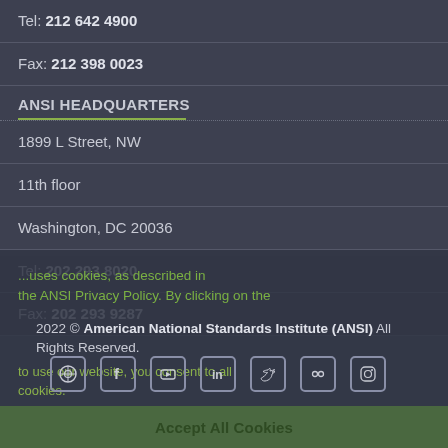Tel: 212 642 4900
Fax: 212 398 0023
ANSI HEADQUARTERS
1899 L Street, NW
11th floor
Washington, DC 20036
Tel: 202 293 8020
Fax: 202 293 9287
2022 © American National Standards Institute (ANSI) All Rights Reserved.
[Figure (other): Social media icons: WordPress, Facebook, YouTube, LinkedIn, Twitter, Flickr, Instagram]
Accept All Cookies